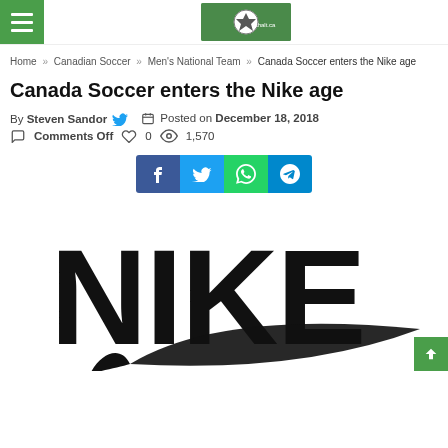≡  [site logo/soccer image]
Home » Canadian Soccer » Men's National Team » Canada Soccer enters the Nike age
Canada Soccer enters the Nike age
By Steven Sandor 🐦  Posted on December 18, 2018
💬 Comments Off  ♡ 0  👁 1,570
[Figure (other): Social media sharing buttons: Facebook, Twitter, WhatsApp, Telegram]
[Figure (logo): Nike logo - large black NIKE text with swoosh on white background]